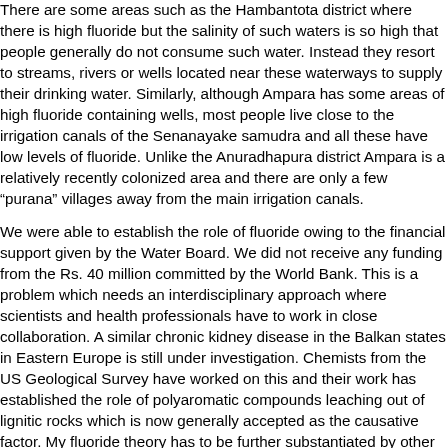There are some areas such as the Hambantota district where there is high fluoride but the salinity of such waters is so high that people generally do not consume such water. Instead they resort to streams, rivers or wells located near these waterways to supply their drinking water. Similarly, although Ampara has some areas of high fluoride containing wells, most people live close to the irrigation canals of the Senanayake samudra and all these have low levels of fluoride. Unlike the Anuradhapura district Ampara is a relatively recently colonized area and there are only a few “purana” villages away from the main irrigation canals.
We were able to establish the role of fluoride owing to the financial support given by the Water Board. We did not receive any funding from the Rs. 40 million committed by the World Bank. This is a problem which needs an interdisciplinary approach where scientists and health professionals have to work in close collaboration. A similar chronic kidney disease in the Balkan states in Eastern Europe is still under investigation. Chemists from the US Geological Survey have worked on this and their work has established the role of polyaromatic compounds leaching out of lignitic rocks which is now generally accepted as the causative factor. My fluoride theory has to be further substantiated by other researchers so that the root causes of this